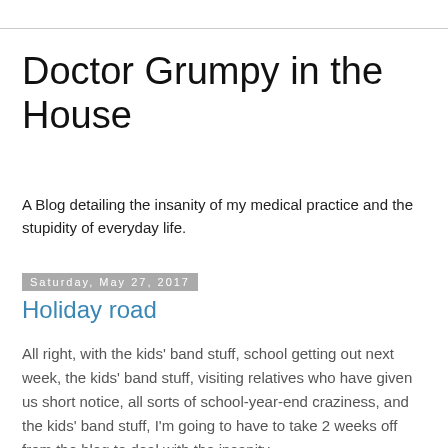Doctor Grumpy in the House
A Blog detailing the insanity of my medical practice and the stupidity of everyday life.
Saturday, May 27, 2017
Holiday road
All right, with the kids' band stuff, school getting out next week, the kids' band stuff, visiting relatives who have given us short notice, all sorts of school-year-end craziness, and the kids' band stuff, I'm going to have to take 2 weeks off from the blog to deal with the insanity.